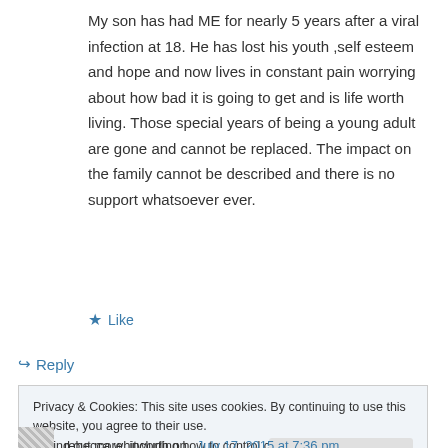My son has had ME for nearly 5 years after a viral infection at 18. He has lost his youth ,self esteem and hope and now lives in constant pain worrying about how bad it is going to get and is life worth living. Those special years of being a young adult are gone and cannot be replaced. The impact on the family cannot be described and there is no support whatsoever ever.
★ Like
↪ Reply
Privacy & Cookies: This site uses cookies. By continuing to use this website, you agree to their use.
To find out more, including how to control cookies, see here: Cookie Policy
Close and accept
rebecca whitworth on July 17, 2015 at 7:36 pm